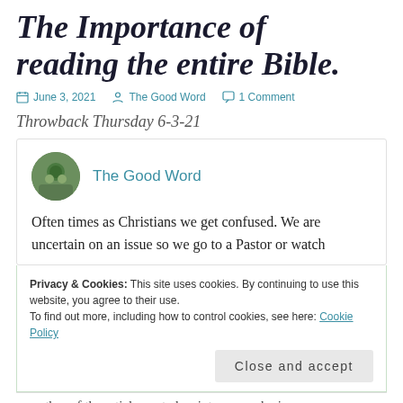The Importance of reading the entire Bible.
June 3, 2021   The Good Word   1 Comment
Throwback Thursday 6-3-21
The Good Word
Often times as Christians we get confused. We are uncertain on an issue so we go to a Pastor or watch
Privacy & Cookies: This site uses cookies. By continuing to use this website, you agree to their use.
To find out more, including how to control cookies, see here: Cookie Policy
Close and accept
author of the article quoted scripture, so who is